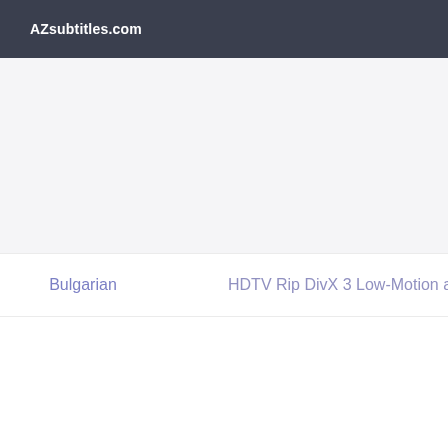AZsubtitles.com
Bulgarian    HDTV Rip DivX 3 Low-Motion ac3 FPS 25